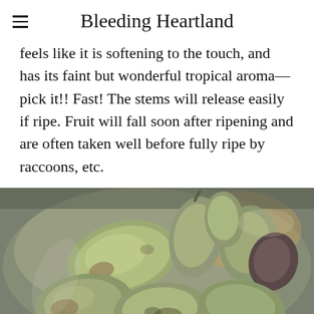Bleeding Heartland
feels like it is softening to the touch, and has its faint but wonderful tropical aroma—pick it!! Fast! The stems will release easily if ripe. Fruit will fall soon after ripening and are often taken well before fully ripe by raccoons, etc.
[Figure (photo): A collection of pawpaw fruits piled in a metal bowl or colander. The fruits are green-yellow and oblong-shaped, some showing slight browning or ripening spots. Photographed close-up with warm background lighting.]